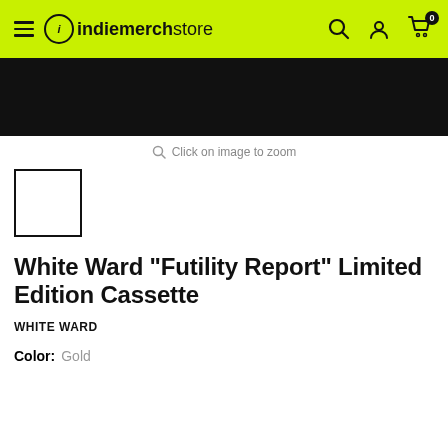indiemerchstore
[Figure (photo): Dark product image banner at top of page]
Click on image to zoom
[Figure (photo): Small thumbnail image with white background and black border]
White Ward "Futility Report" Limited Edition Cassette
WHITE WARD
Color: Gold